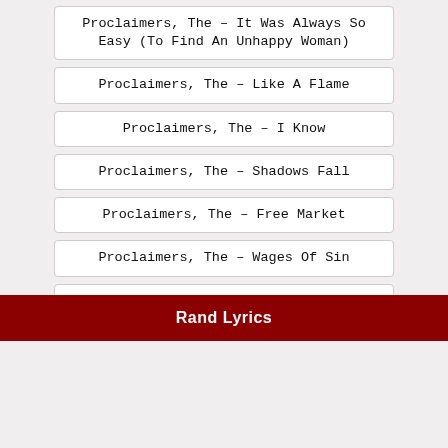Proclaimers, The – It Was Always So Easy (To Find An Unhappy Woman)
Proclaimers, The – Like A Flame
Proclaimers, The – I Know
Proclaimers, The – Shadows Fall
Proclaimers, The – Free Market
Proclaimers, The – Wages Of Sin
Proclaimers, The – On Causewayside
Rand Lyrics